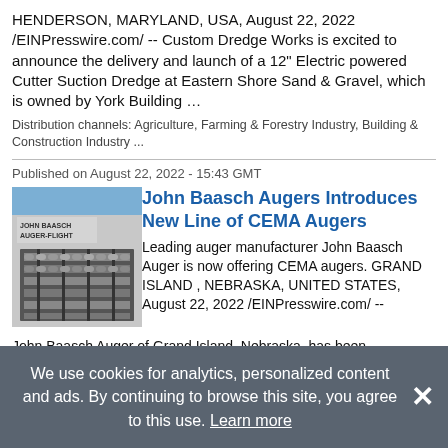HENDERSON, MARYLAND, USA, August 22, 2022 /EINPresswire.com/ -- Custom Dredge Works is excited to announce the delivery and launch of a 12" Electric powered Cutter Suction Dredge at Eastern Shore Sand & Gravel, which is owned by York Building …
Distribution channels: Agriculture, Farming & Forestry Industry, Building & Construction Industry ...
Published on August 22, 2022 - 15:43 GMT
[Figure (photo): Photo of John Baasch Auger-Flight equipment racks in a warehouse with a blue sky visible]
John Baasch Augers Introduces New Line of CEMA Augers
Leading auger manufacturer John Baasch Auger is now offering CEMA augers. GRAND ISLAND , NEBRASKA, UNITED STATES, August 22, 2022 /EINPresswire.com/ -- John Baasch Auger of Grand Island, Nebraska, has been manufacturing and supplying high …
Distribution channels: Agriculture, Farming & Forestry Industry, Building & Construction Industry ...
We use cookies for analytics, personalized content and ads. By continuing to browse this site, you agree to this use. Learn more